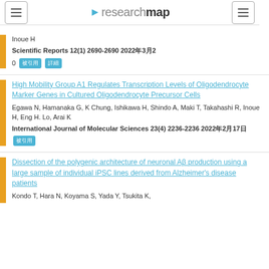researchmap
Inoue H
Scientific Reports 12(1) 2690-2690 2022年3月2
High Mobility Group A1 Regulates Transcription Levels of Oligodendrocyte Marker Genes in Cultured Oligodendrocyte Precursor Cells
Egawa N, Hamanaka G, K Chung, Ishikawa H, Shindo A, Maki T, Takahashi R, Inoue H, Eng H. Lo, Arai K
International Journal of Molecular Sciences 23(4) 2236-2236 2022年2月17日
Dissection of the polygenic architecture of neuronal Aβ production using a large sample of individual iPSC lines derived from Alzheimer's disease patients
Kondo T, Hara N, Koyama S, Yada Y, Tsukita K,